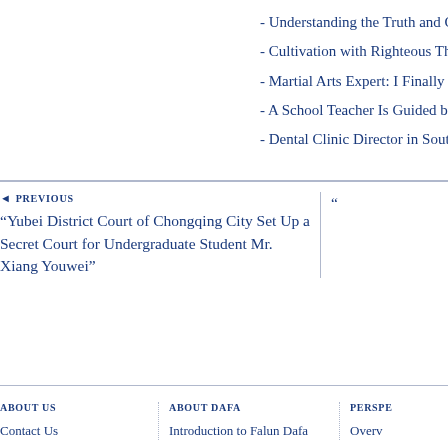- Understanding the Truth and Cultivating in Dafa
- Cultivation with Righteous Thoughts
- Martial Arts Expert: I Finally Learned What Tru
- A School Teacher Is Guided by Higher Moral Sta
- Dental Clinic Director in South Korea: Falun Da
◄ PREVIOUS
“Yubei District Court of Chongqing City Set Up a Secret Court for Undergraduate Student Mr. Xiang Youwei”
ABOUT US
ABOUT DAFA
PERSPE
Contact Us
Introduction to Falun Dafa
Overv